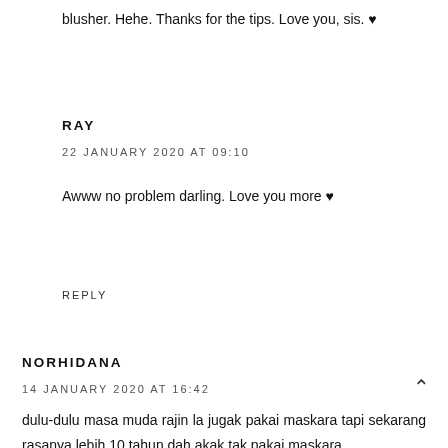blusher. Hehe. Thanks for the tips. Love you, sis. ♥
RAY
22 JANUARY 2020 AT 09:10
Awww no problem darling. Love you more ♥
REPLY
NORHIDANA
14 JANUARY 2020 AT 16:42
dulu-dulu masa muda rajin la jugak pakai maskara tapi sekarang rasanya lebih 10 tahun dah akak tak pakai maskara,